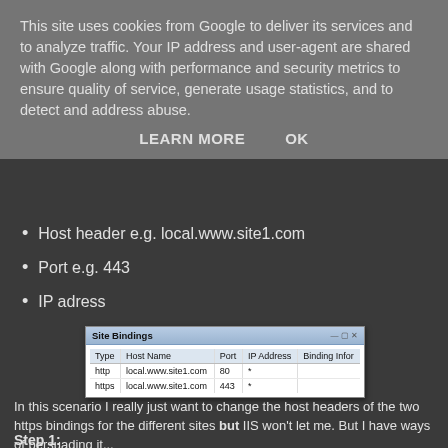This site uses cookies from Google to deliver its services and to analyze traffic. Your IP address and user-agent are shared with Google along with performance and security metrics to ensure quality of service, generate usage statistics, and to detect and address abuse.
LEARN MORE    OK
Host header e.g. local.www.site1.com
Port e.g. 443
IP adress
[Figure (screenshot): Site Bindings dialog showing a table with columns Type, Host Name, Port, IP Address, Binding Information. Two rows: http local.www.site1.com 80 * and https local.www.site1.com 443 *]
In this scenario I really just want to change the host headers of the two https bindings for the different sites but IIS won't let me. But I have ways of persuading it...
Step 1: